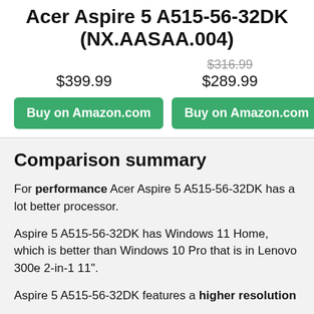Acer Aspire 5 A515-56-32DK (NX.AASAA.004)
$399.99
$316.99 $289.99
Buy on Amazon.com
Buy on Amazon.com
Comparison summary
For performance Acer Aspire 5 A515-56-32DK has a lot better processor.
Aspire 5 A515-56-32DK has Windows 11 Home, which is better than Windows 10 Pro that is in Lenovo 300e 2-in-1 11".
Aspire 5 A515-56-32DK features a higher resolution